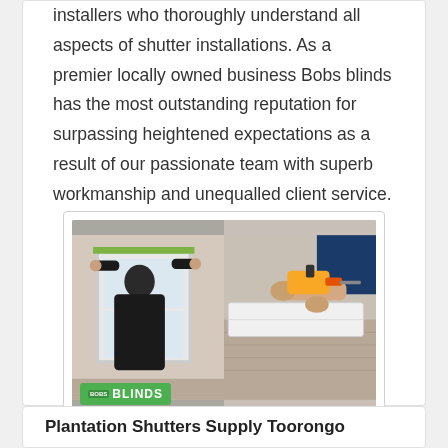installers who thoroughly understand all aspects of shutter installations. As a premier locally owned business Bobs blinds has the most outstanding reputation for surpassing heightened expectations as a result of our passionate team with superb workmanship and unequalled client service.
[Figure (photo): Two side-by-side photos showing plantation shutter installation. Left photo shows a person in dark clothing installing a shutter frame on a window. Right photo shows hands using a yellow drill/screwdriver on white shutter components on a floor. A green 'BOBS BLINDS' logo badge is overlaid on the bottom-left of the left photo.]
Plantation Shutters Installation
Plantation Shutters Supply Toorongo